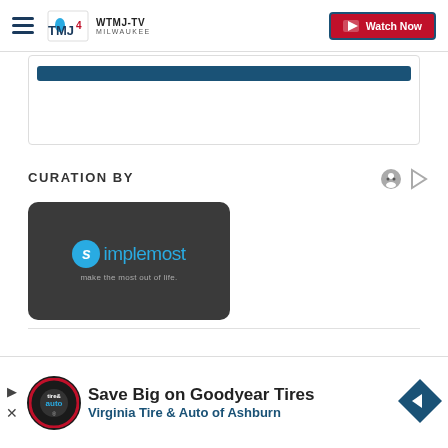WTMJ-TV MILWAUKEE — Watch Now
[Figure (screenshot): Blue navigation bar element / card with teal blue bar]
CURATION BY
[Figure (logo): Simplemost logo — dark grey card with blue 's' circle icon and 'simplemost — make the most out of life.' text]
CLOSE
[Figure (screenshot): Advertisement banner: Save Big on Goodyear Tires — Virginia Tire & Auto of Ashburn]